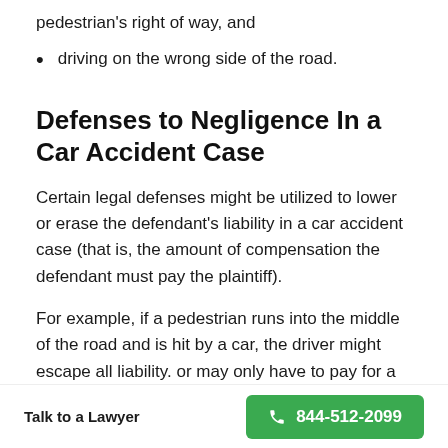pedestrian's right of way, and
driving on the wrong side of the road.
Defenses to Negligence In a Car Accident Case
Certain legal defenses might be utilized to lower or erase the defendant's liability in a car accident case (that is, the amount of compensation the defendant must pay the plaintiff).
For example, if a pedestrian runs into the middle of the road and is hit by a car, the driver might escape all liability. or may only have to pay for a portion of
Talk to a Lawyer  844-512-2099